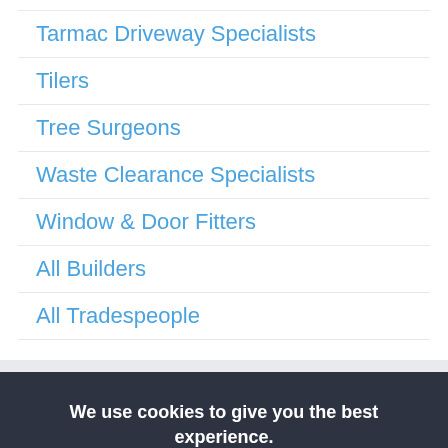Tarmac Driveway Specialists
Tilers
Tree Surgeons
Waste Clearance Specialists
Window & Door Fitters
All Builders
All Tradespeople
We use cookies to give you the best experience.
OK
Settings